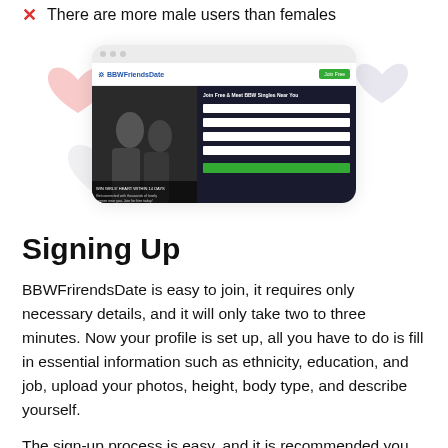There are more male users than females
[Figure (screenshot): Screenshot of BBWFriendsDate website showing a couple in a romantic pose on the left, a registration form on the right with dark background, and decorative pink and gray heart shapes around the browser frame.]
Signing Up
BBWFrirendsDate is easy to join, it requires only necessary details, and it will only take two to three minutes. Now your profile is set up, all you have to do is fill in essential information such as ethnicity, education, and job, upload your photos, height, body type, and describe yourself.
The sign-up process is easy, and it is recommended you